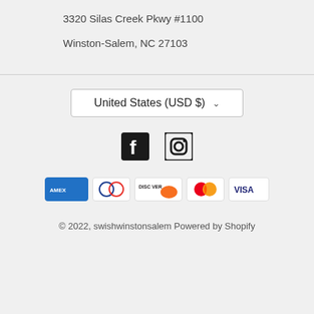3320 Silas Creek Pkwy #1100
Winston-Salem, NC 27103
United States (USD $)
[Figure (infographic): Social media icons: Facebook and Instagram]
[Figure (infographic): Payment method icons: American Express, Diners Club, Discover, Mastercard, Visa]
© 2022, swishwinstonsalem Powered by Shopify